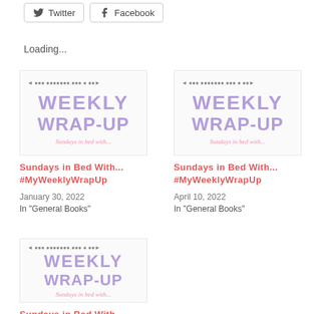[Figure (other): Twitter share button with bird icon]
[Figure (other): Facebook share button with f icon]
Loading...
[Figure (illustration): Weekly Wrap-Up blog post thumbnail image with purple text]
Sundays in Bed With... #MyWeeklyWrapUp
January 30, 2022
In "General Books"
[Figure (illustration): Weekly Wrap-Up blog post thumbnail image with purple text]
Sundays in Bed With... #MyWeeklyWrapUp
April 10, 2022
In "General Books"
[Figure (illustration): Weekly Wrap-Up blog post thumbnail image with purple text]
Sundays in Bed With...